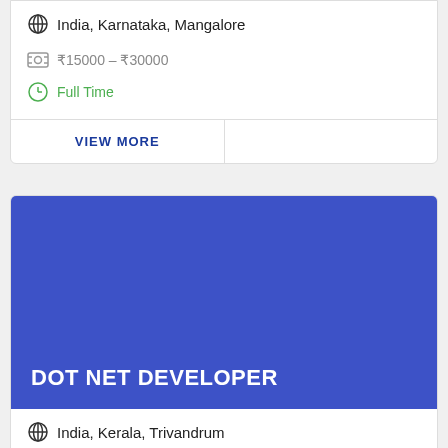India, Karnataka, Mangalore
₹15000 - ₹30000
Full Time
VIEW MORE
DOT NET DEVELOPER
India, Kerala, Trivandrum
Full Time
VIEW MORE